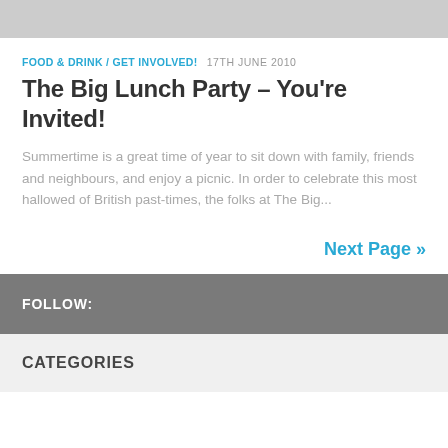FOOD & DRINK / GET INVOLVED!  17TH JUNE 2010
The Big Lunch Party – You're Invited!
Summertime is a great time of year to sit down with family, friends and neighbours, and enjoy a picnic. In order to celebrate this most hallowed of British past-times, the folks at The Big...
Next Page »
FOLLOW:
CATEGORIES